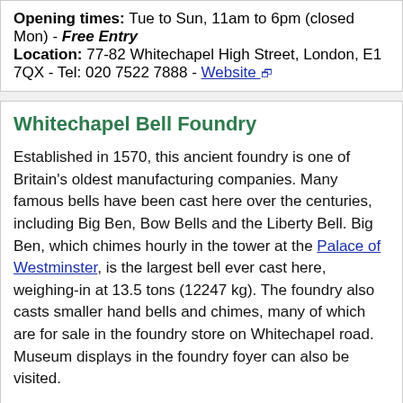Opening times: Tue to Sun, 11am to 6pm (closed Mon) - Free Entry
Location: 77-82 Whitechapel High Street, London, E1 7QX - Tel: 020 7522 7888 - Website
Whitechapel Bell Foundry
Established in 1570, this ancient foundry is one of Britain's oldest manufacturing companies. Many famous bells have been cast here over the centuries, including Big Ben, Bow Bells and the Liberty Bell. Big Ben, which chimes hourly in the tower at the Palace of Westminster, is the largest bell ever cast here, weighing-in at 13.5 tons (12247 kg). The foundry also casts smaller hand bells and chimes, many of which are for sale in the foundry store on Whitechapel road. Museum displays in the foundry foyer can also be visited.
Pre-booked tours of the foundry works are also available on Saturdays, when no foundry work is being done. Call on: 020 7247 2599 or see website for details.
Shop opening times: Mon to Fri, 9am to 5pm - Free